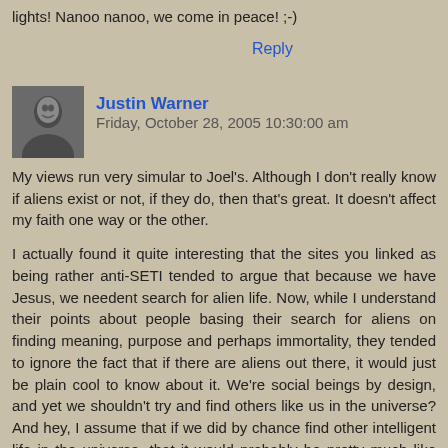lights! Nanoo nanoo, we come in peace! ;-)
Reply
Justin Warner  Friday, October 28, 2005 10:30:00 am
[Figure (photo): Avatar/profile photo of Justin Warner, a grayscale portrait image]
My views run very simular to Joel's. Although I don't really know if aliens exist or not, if they do, then that's great. It doesn't affect my faith one way or the other.

I actually found it quite interesting that the sites you linked as being rather anti-SETI tended to argue that because we have Jesus, we needent search for alien life. Now, while I understand their points about people basing their search for aliens on finding meaning, purpose and perhaps immortality, they tended to ignore the fact that if there are aliens out there, it would just be plain cool to know about it. We're social beings by design, and yet we shouldn't try and find others like us in the universe? And hey, I assume that if we did by chance find other intelligent life in the universe, that it would probably be pretty much like us. And you know what? I bet God loves the aliens too. I mean after all - if they're there, He made them. :)